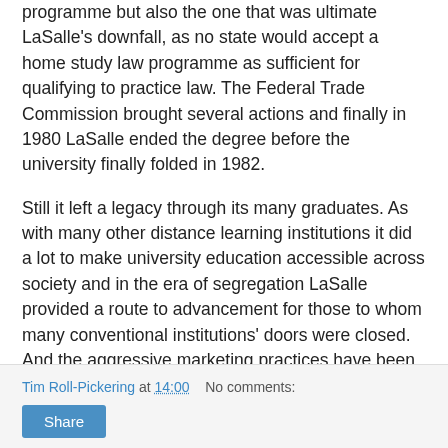programme but also the one that was ultimate LaSalle's downfall, as no state would accept a home study law programme as sufficient for qualifying to practice law. The Federal Trade Commission brought several actions and finally in 1980 LaSalle ended the degree before the university finally folded in 1982.
Still it left a legacy through its many graduates. As with many other distance learning institutions it did a lot to make university education accessible across society and in the era of segregation LaSalle provided a route to advancement for those to whom many conventional institutions' doors were closed. And the aggressive marketing practices have been picked up by other institutions around the world in an era where competition is ever fiercer.
You can see more adverts on Flickr at LaSalle Extension University ads.
Tim Roll-Pickering at 14:00   No comments:
Share